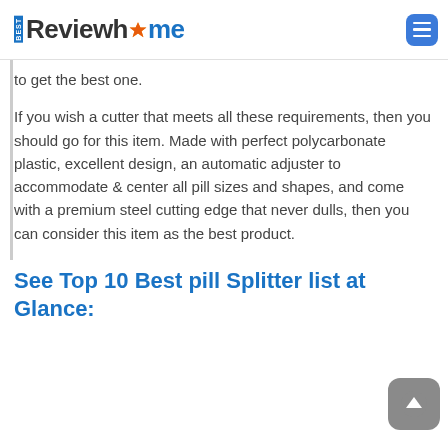Best Reviewhome
to get the best one.
If you wish a cutter that meets all these requirements, then you should go for this item. Made with perfect polycarbonate plastic, excellent design, an automatic adjuster to accommodate & center all pill sizes and shapes, and come with a premium steel cutting edge that never dulls, then you can consider this item as the best product.
See Top 10 Best pill Splitter list at Glance: